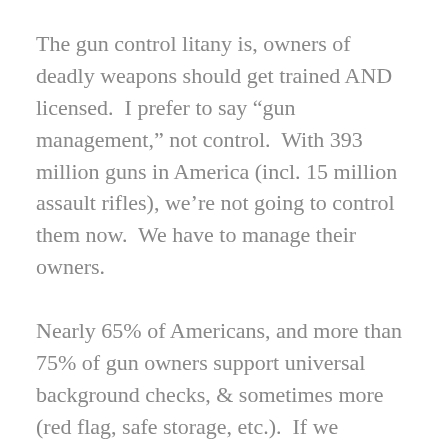The gun control litany is, owners of deadly weapons should get trained AND licensed.  I prefer to say "gun management," not control.  With 393 million guns in America (incl. 15 million assault rifles), we're not going to control them now.  We have to manage their owners.
Nearly 65% of Americans, and more than 75% of gun owners support universal background checks, & sometimes more (red flag, safe storage, etc.).  If we subtract 75% of gun owners from 100%, that leaves 25% or fewer gun owners who radically defend the 2nd Amendment.
So, why does our 65% gun management majority act like a shivering elephant cornered by a screaming,